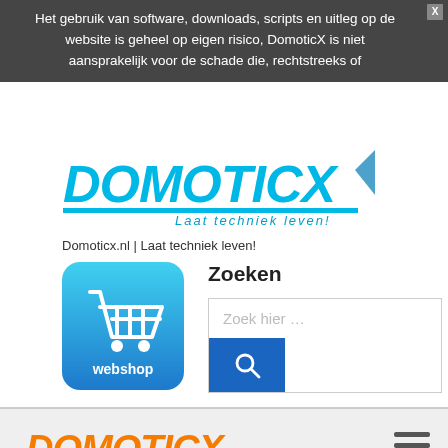Het gebruik van software, downloads, scripts en uitleg op de website is geheel op eigen risico, DomoticX is niet aansprakelijk voor de schade die, rechtstreeks of
[Figure (logo): DomoticX cyan logo with tagline 'Laat techniek leven!']
Domoticx.nl | Laat techniek leven!
[Figure (illustration): Blue rounded square webshop button with shopping cart icon and 'webshop' text]
Zoeken
Zoek hier …
[Figure (logo): DomoticX orange Knowledge Center logo]
The closer you look, the less you see!